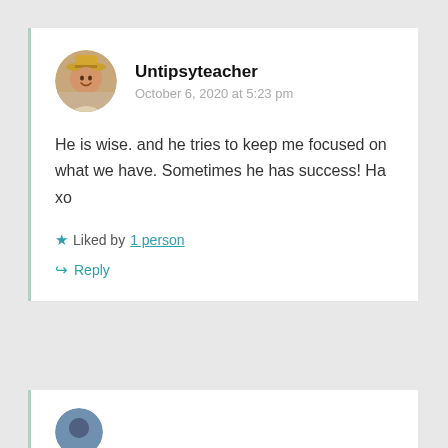[Figure (photo): Round avatar photo of a person wearing a straw hat, smiling, with colorful background]
Untipsyteacher
October 6, 2020 at 5:23 pm
He is wise. and he tries to keep me focused on what we have. Sometimes he has success! Ha xo
★ Liked by 1 person
↳ Reply
[Figure (photo): Partial round avatar photo at bottom of page, partially cut off]